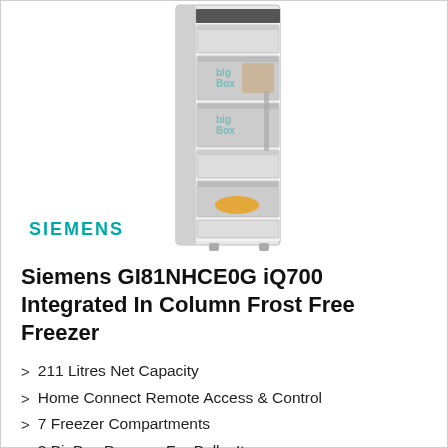[Figure (photo): Siemens integrated in-column frost free freezer appliance shown open with multiple drawers visible, white finish, containing food items including a BigBox drawer]
SIEMENS
Siemens GI81NHCE0G iQ700 Integrated In Column Frost Free Freezer
211 Litres Net Capacity
Home Connect Remote Access & Control
7 Freezer Compartments
2 BigBox Drawers For Bulky Items
VarioZone - Removable Safety Glass Shelves